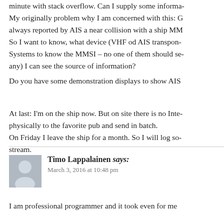minute with stack overflow. Can I supply some informa- My originally problem why I am concerned with this: always reported by AIS a near collision with a ship MM So I want to know, what device (VHF od AIS transpon- Systems to know the MMSI – no one of them should se- any) I can see the source of information?
Do you have some demonstration displays to show AIS
At last: I'm on the ship now. But on site there is no Inte- physically to the favorite pub and send in batch. On Friday I leave the ship for a month. So I will log so- stream.
Timo Lappalainen says: March 3, 2016 at 10:48 pm
I am professional programmer and it took even for me